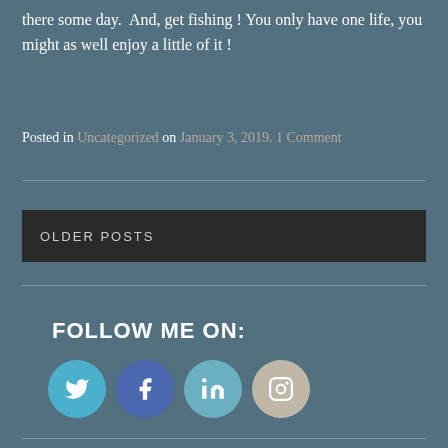there some day.  And, get fishing ! You only have one life, you might as well enjoy a little of it !
Posted in Uncategorized on January 3, 2019. 1 Comment
OLDER POSTS
FOLLOW ME ON:
[Figure (other): Social media icons: Twitter (light blue circle), Facebook (blue circle), LinkedIn (teal circle), Instagram (beige/tan circle)]